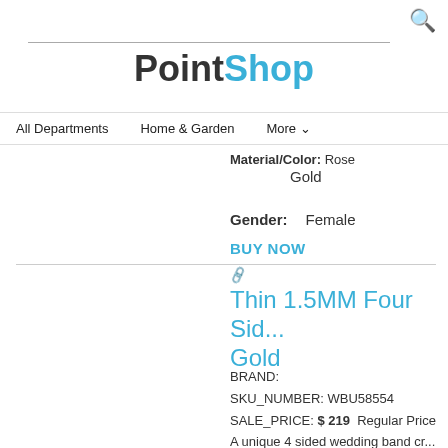PointShop
All Departments   Home & Garden   More
Material/Color: Rose Gold
Gender: Female
BUY NOW
Thin 1.5MM Four Sid... Gold
BRAND:
SKU_NUMBER: WBU58554
SALE_PRICE: $ 219  Regular Price
A unique 4 sided wedding band cr...